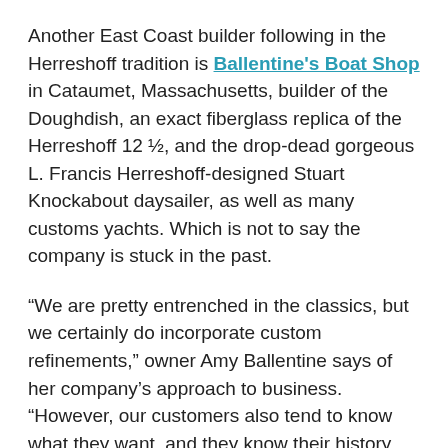Another East Coast builder following in the Herreshoff tradition is Ballentine's Boat Shop in Cataumet, Massachusetts, builder of the Doughdish, an exact fiberglass replica of the Herreshoff 12 ½, and the drop-dead gorgeous L. Francis Herreshoff-designed Stuart Knockabout daysailer, as well as many customs yachts. Which is not to say the company is stuck in the past.
“We are pretty entrenched in the classics, but we certainly do incorporate custom refinements,” owner Amy Ballentine says of her company’s approach to business. “However, our customers also tend to know what they want, and they know their history. The Herreshoff name is so iconic, it’s one they truly recognize and want to sail.”
Similarly, the Classic Boat Shop of Bernard, Maine, has